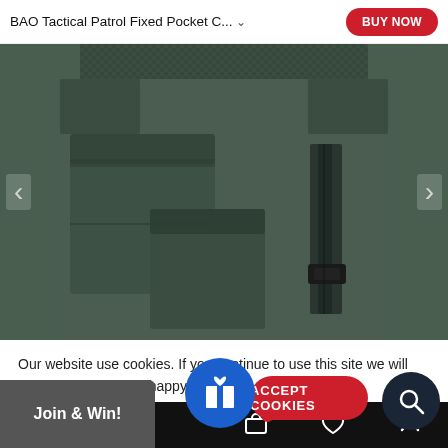BAO Tactical Patrol Fixed Pocket C... BUY NOW
[Figure (photo): Close-up product photo of a dark green/black tactical patrol vest showing front pockets, velcro strips, and buckle straps. Navigation arrows visible on left and right sides.]
Our website use cookies. If you continue to use this site we will assume that you are happy with this.
More about cookies: www.aboutcookies.org
ACCEPT COOKIES
Join & Win!